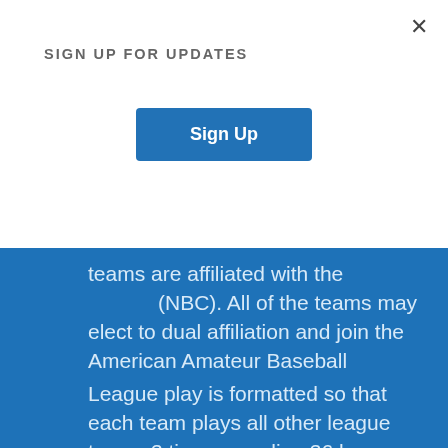SIGN UP FOR UPDATES
[Figure (other): Sign Up button — blue rectangular button with white bold text 'Sign Up']
teams are affiliated with the (NBC). All of the teams may elect to dual affiliation and join the American Amateur Baseball Congress (AABC). This dual affiliation allows Colorado to send three teams to post-season major tournaments, two to the NBC tournament and one to the AABC tournament.
League play is formatted so that each team plays all other league teams 3 times equaling 36 league games. In addition, the teams will fill